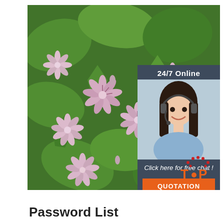[Figure (photo): Close-up photo of pink flowers (pelargonium/geranium) with green leaves, blurred background. Overlaid with a '24/7 Online' customer service chat widget showing a female agent with headset, 'Click here for free chat!' text, and an orange 'QUOTATION' button. A red/orange 'TOP' badge is visible at the bottom right of the image.]
Password List